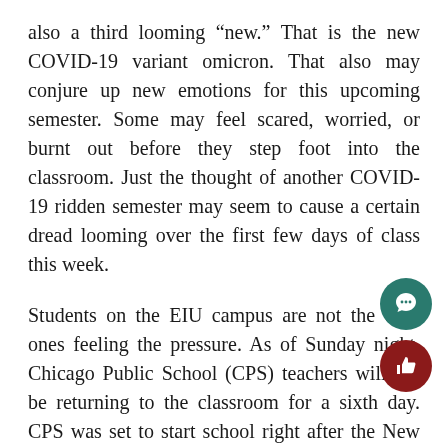also a third looming “new.” That is the new COVID-19 variant omicron. That also may conjure up new emotions for this upcoming semester. Some may feel scared, worried, or burnt out before they step foot into the classroom. Just the thought of another COVID-19 ridden semester may seem to cause a certain dread looming over the first few days of class this week.
Students on the EIU campus are not the only ones feeling the pressure. As of Sunday night, Chicago Public School (CPS) teachers will not be returning to the classroom for a sixth day. CPS was set to start school right after the New Year holiday on January third. The Chicago Teachers’ Union (CTU) and Chicago’s municipal government have been at a legal war.
CTU is fighting saying that the schools are not safe to return to in-person learning but are willing to work remotely. The municipal government, with mayor Lori